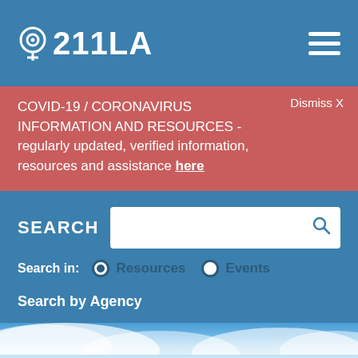211LA
COVID-19 / CORONAVIRUS INFORMATION AND RESOURCES - regularly updated, verified information, resources and assistance here
Dismiss X
SEARCH
Search in:  Resources  Events
Search by Agency